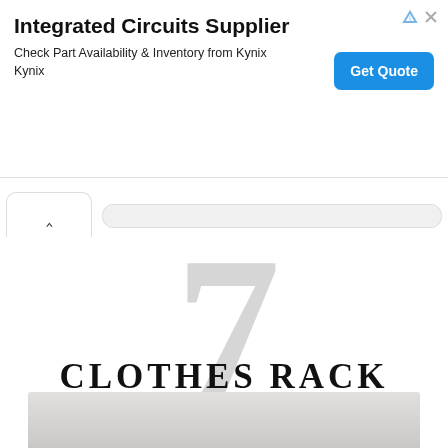[Figure (screenshot): Advertisement banner for Integrated Circuits Supplier (Kynix) with blue Get Quote button and ad icons]
7
CLOTHES RACK
[Figure (photo): Photo of clothes rack with hangers at the bottom of the page]